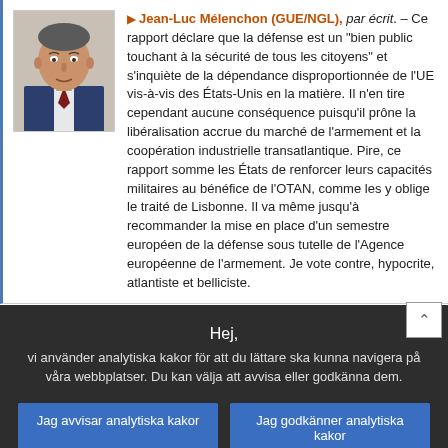[Figure (photo): Portrait photo of Jean-Luc Mélenchon, a middle-aged man in a suit]
Jean-Luc Mélenchon (GUE/NGL), par écrit. – Ce rapport déclare que la défense est un "bien public touchant à la sécurité de tous les citoyens" et s'inquiète de la dépendance disproportionnée de l'UE vis-à-vis des États-Unis en la matière. Il n'en tire cependant aucune conséquence puisqu'il prône la libéralisation accrue du marché de l'armement et la coopération industrielle transatlantique. Pire, ce rapport somme les États de renforcer leurs capacités militaires au bénéfice de l'OTAN, comme les y oblige le traité de Lisbonne. Il va même jusqu'à recommander la mise en place d'un semestre européen de la défense sous tutelle de l'Agence européenne de l'armement. Je vote contre, hypocrite, atlantiste et belliciste.
Hej, vi använder analytiska kakor för att du lättare ska kunna navigera på våra webbplatser. Du kan välja att avvisa eller godkänna dem.
Jag avvisar analytiska kakor
Jag godkänner analytiska kakor
För information om övriga kakor och serverloggar som vi använder kan du läsa vår policy för skydd av personuppgifter , vår policy för kakor och vår genomgång av kakor.